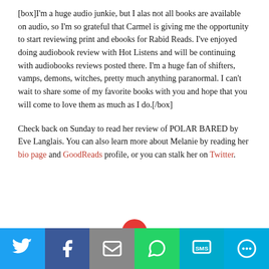[box]I'm a huge audio junkie, but I alas not all books are available on audio, so I'm so grateful that Carmel is giving me the opportunity to start reviewing print and ebooks for Rabid Reads. I've enjoyed doing audiobook review with Hot Listens and will be continuing with audiobooks reviews posted there. I'm a huge fan of shifters, vamps, demons, witches, pretty much anything paranormal. I can't wait to share some of my favorite books with you and hope that you will come to love them as much as I do.[/box]
Check back on Sunday to read her review of POLAR BARED by Eve Langlais. You can also learn more about Melanie by reading her bio page and GoodReads profile, or you can stalk her on Twitter.
[Figure (other): Social sharing bar with Twitter, Facebook, Email, WhatsApp, SMS, and More buttons]